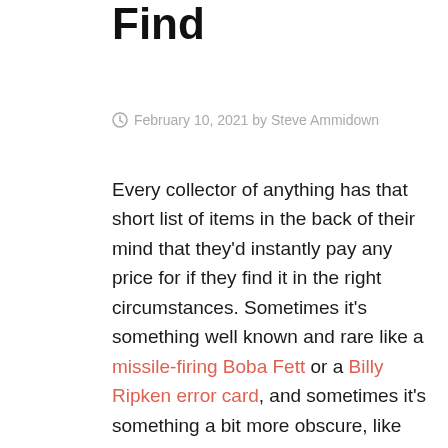Find
February 10, 2021 by Steve Ammidown
Every collector of anything has that short list of items in the back of their mind that they'd instantly pay any price for if they find it in the right circumstances. Sometimes it's something well known and rare like a missile-firing Boba Fett or a Billy Ripken error card, and sometimes it's something a bit more obscure, like the anti-drug Spider-Man storyline that was printed without the Comics Code seal in 1971.